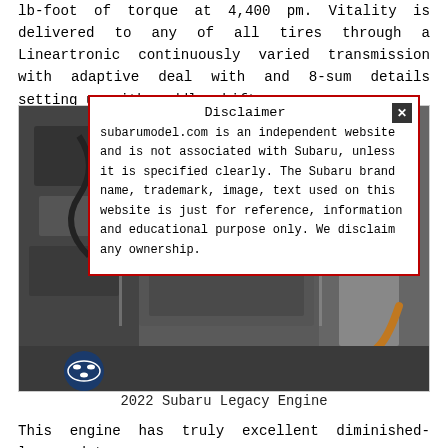lb-foot of torque at 4,400 pm. Vitality is delivered to any of all tires through a Lineartronic continuously varied transmission with adaptive deal with and 8-sum details setting up with paddle shifters.
[Figure (photo): Close-up photograph of a 2022 Subaru Legacy engine bay showing engine components, Subaru badge, and engine cover details.]
Disclaimer
subarumodel.com is an independent website and is not associated with Subaru, unless it is specified clearly. The Subaru brand name, trademark, image, text used on this website is just for reference, information and educational purpose only. We disclaim any ownership.
2022 Subaru Legacy Engine
This engine has truly excellent diminished-lessened torque